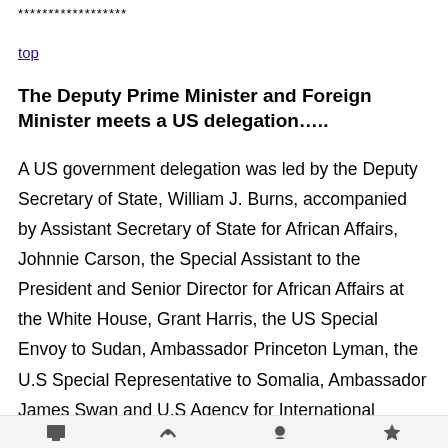******************
top
The Deputy Prime Minister and Foreign Minister meets a US delegation…..
A US government delegation was led by the Deputy Secretary of State, William J. Burns, accompanied by Assistant Secretary of State for African Affairs, Johnnie Carson, the Special Assistant to the President and Senior Director for African Affairs at the White House, Grant Harris, the US Special Envoy to Sudan, Ambassador Princeton Lyman, the U.S Special Representative to Somalia, Ambassador James Swan and U.S Agency for International Development's Deputy Assistant